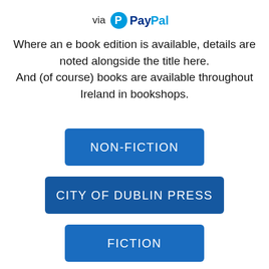[Figure (logo): PayPal logo with 'via' text preceding it]
Where an e book edition is available, details are noted alongside the title here. And (of course) books are available throughout Ireland in bookshops.
NON-FICTION
CITY OF DUBLIN PRESS
FICTION